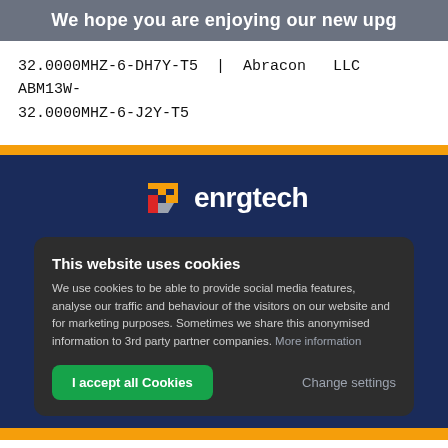We hope you are enjoying our new upg
32.0000MHZ-6-DH7Y-T5 | Abracon LLC ABM13W-32.0000MHZ-6-J2Y-T5
[Figure (logo): enrgtech company logo with stylized 'e' icon in orange, red, and gray, followed by the text 'enrgtech' in white]
This website uses cookies
We use cookies to be able to provide social media features, analyse our traffic and behaviour of the visitors on our website and for marketing purposes. Sometimes we share this anonymised information to 3rd party partner companies. More information
I accept all Cookies
Change settings